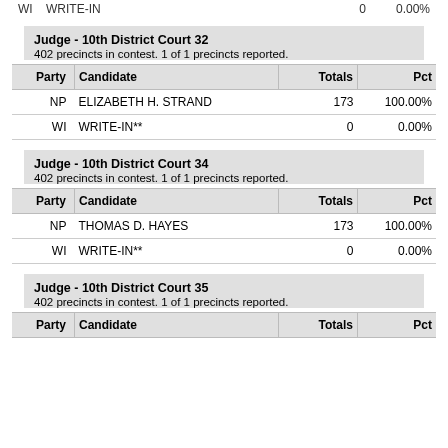WI    WRITE-IN    0    0.00%
| Party | Candidate | Totals | Pct |
| --- | --- | --- | --- |
| NP | ELIZABETH H. STRAND | 173 | 100.00% |
| WI | WRITE-IN** | 0 | 0.00% |
| Party | Candidate | Totals | Pct |
| --- | --- | --- | --- |
| NP | THOMAS D. HAYES | 173 | 100.00% |
| WI | WRITE-IN** | 0 | 0.00% |
| Party | Candidate | Totals | Pct |
| --- | --- | --- | --- |